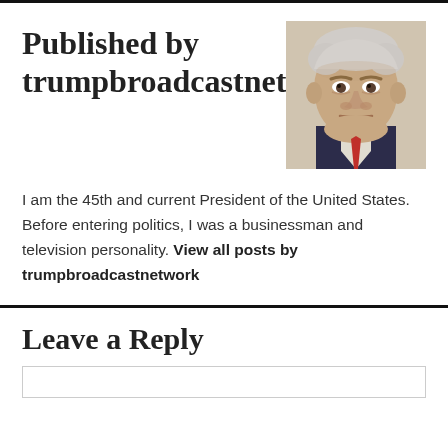Published by trumpbroadcastnetwork
[Figure (photo): Headshot photo of Donald Trump, older man with white/grey hair, serious expression, wearing a dark suit]
I am the 45th and current President of the United States. Before entering politics, I was a businessman and television personality. View all posts by trumpbroadcastnetwork
Leave a Reply